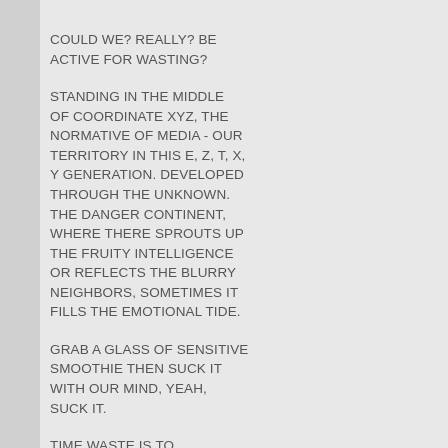COULD WE? REALLY? BE ACTIVE FOR WASTING?
STANDING IN THE MIDDLE OF COORDINATE XYZ, THE NORMATIVE OF MEDIA - OUR TERRITORY IN THIS E, Z, T, X, Y GENERATION. DEVELOPED THROUGH THE UNKNOWN. THE DANGER CONTINENT, WHERE THERE SPROUTS UP THE FRUITY INTELLIGENCE OR REFLECTS THE BLURRY NEIGHBORS, SOMETIMES IT FILLS THE EMOTIONAL TIDE.
GRAB A GLASS OF SENSITIVE SMOOTHIE THEN SUCK IT WITH OUR MIND, YEAH, SUCK IT.
TIME WASTE IS TO HARMONIZE THE LOST STRUCTURE, THE UNWANTED